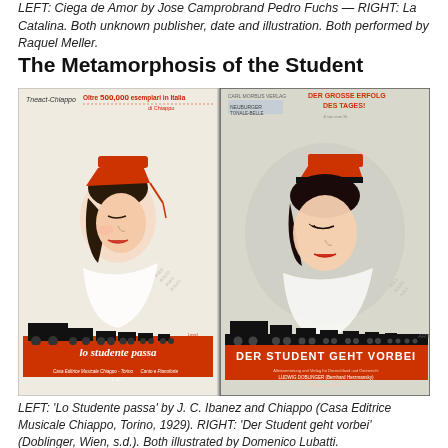LEFT: 'Ciega de Amor' by Jose Camprobrand Pedro Fuchs — RIGHT: 'La Catalina'. Both unknown publisher, date and illustration. Both performed by Raquel Meller.
The Metamorphosis of the Student
[Figure (photo): Two sheet music covers side by side. LEFT: 'Lo studente passa' Italian sheet music cover featuring an art deco illustration of a young woman wearing an orange academic cap, with a steam locomotive silhouette at the bottom, orange banner with title text. Published by Casa Editrice Musicale Chiappo, Torino. RIGHT: 'Der Student geht vorbei' German sheet music cover with similar art deco illustration of a woman in an orange cap, steam train at the bottom, orange banner with title. Published by Ludwig Doblinger (Bernhard Herzmansky), Wien/Leipzig/Berlin.]
LEFT: 'Lo Studente passa' by J. C. Ibanez and Chiappo (Casa Editrice Musicale Chiappo, Torino, 1929). RIGHT: 'Der Student geht vorbei' (Doblinger, Wien, s.d.). Both illustrated by Domenico Lubatti.